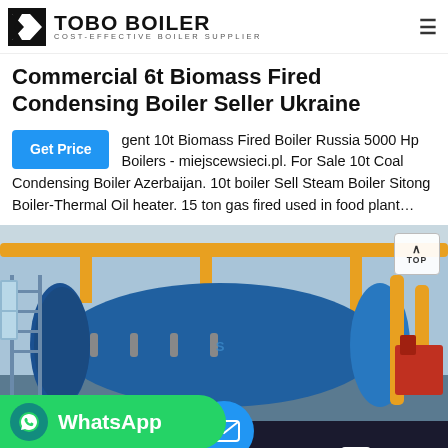TOBO BOILER - COST-EFFECTIVE BOILER SUPPLIER
Commercial 6t Biomass Fired Condensing Boiler Seller Ukraine
gent 10t Biomass Fired Boiler Russia 5000 Hp Boilers - miejscewsieci.pl. For Sale 10t Coal Condensing Boiler Azerbaijan. 10t boiler Sell Steam Boiler Sitong Boiler-Thermal Oil heater. 15 ton gas fired used in food plant…
[Figure (photo): Industrial boiler room showing a large blue cylindrical boiler with yellow pipes overhead and metal scaffolding in an industrial facility.]
Send Message | Inquiry Online